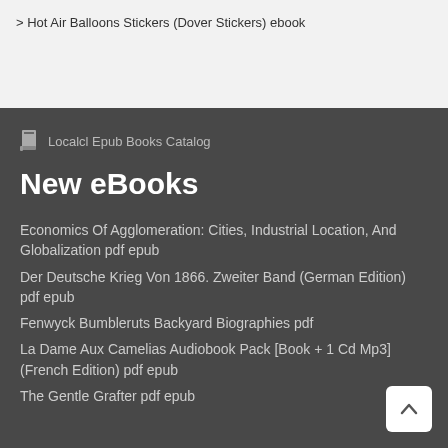> Hot Air Balloons Stickers (Dover Stickers) ebook
Localcl Epub Books Catalog
New eBooks
Economics Of Agglomeration: Cities, Industrial Location, And Globalization pdf epub
Der Deutsche Krieg Von 1866. Zweiter Band (German Edition) pdf epub
Fenwyck Bumbleruts Backyard Biographies pdf
La Dame Aux Camelias Audiobook Pack [Book + 1 Cd Mp3] (French Edition) pdf epub
The Gentle Grafter pdf epub